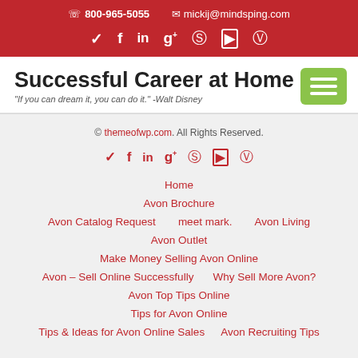📞 800-965-5055   ✉ mickij@mindsping.com
Successful Career at Home
"If you can dream it, you can do it." -Walt Disney
© themeofwp.com. All Rights Reserved. Home | Avon Brochure | Avon Catalog Request | meet mark. | Avon Living | Avon Outlet | Make Money Selling Avon Online | Avon – Sell Online Successfully | Why Sell More Avon? | Avon Top Tips Online | Tips for Avon Online | Tips & Ideas for Avon Online Sales | Avon Recruiting Tips